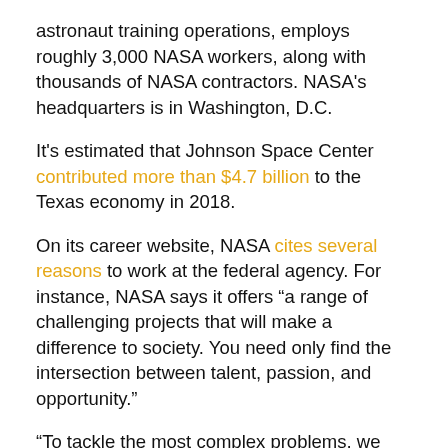astronaut training operations, employs roughly 3,000 NASA workers, along with thousands of NASA contractors. NASA's headquarters is in Washington, D.C.
It's estimated that Johnson Space Center contributed more than $4.7 billion to the Texas economy in 2018.
On its career website, NASA cites several reasons to work at the federal agency. For instance, NASA says it offers “a range of challenging projects that will make a difference to society. You need only find the intersection between talent, passion, and opportunity.”
“To tackle the most complex problems, we employ the best of the best. Our world-class, accessible experts will become your trusted colleagues and mentors,” NASA goes on to say.
To compare with their rankings, Forbes and Statista